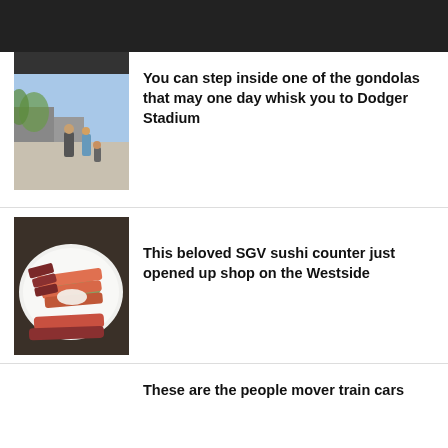[Figure (photo): Dark header bar at top of news app]
[Figure (photo): People walking outside Dodger Stadium area, viewed from inside a gondola]
You can step inside one of the gondolas that may one day whisk you to Dodger Stadium
[Figure (photo): Sushi/sashimi plate with salmon and tuna on white plate on dark table]
This beloved SGV sushi counter just opened up shop on the Westside
These are the people mover train cars